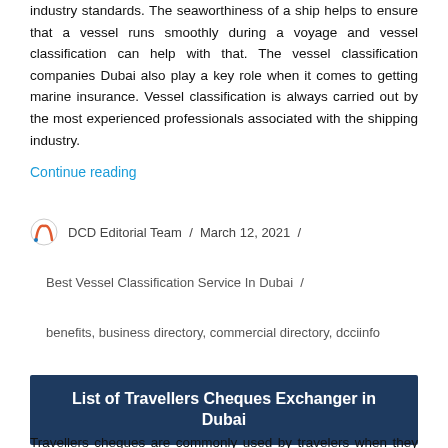industry standards. The seaworthiness of a ship helps to ensure that a vessel runs smoothly during a voyage and vessel classification can help with that. The vessel classification companies Dubai also play a key role when it comes to getting marine insurance. Vessel classification is always carried out by the most experienced professionals associated with the shipping industry.
Continue reading
DCD Editorial Team / March 12, 2021 /
Best Vessel Classification Service In Dubai /
benefits, business directory, commercial directory, dcciinfo
List of Travellers Cheques Exchanger in Dubai
Travellers cheques are commonly used by travelers when they need to make payments across currencies. Banks can provide travelers with pre-printed cheques having fixed amounts that make